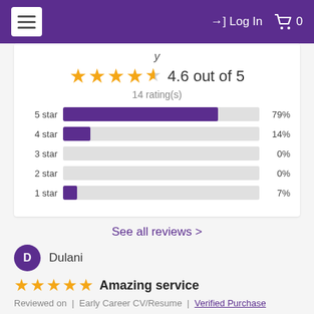☰  →] Log In  🛒 0
[Figure (bar-chart): 4.6 out of 5 — 14 rating(s)]
See all reviews >
D  Dulani
★★★★★  Amazing service
Reviewed on  |  Early Career CV/Resume  |  Verified Purchase
I can't appreciate enough the amazing service by James Innes Group and Kathlyn! Everything was articulated